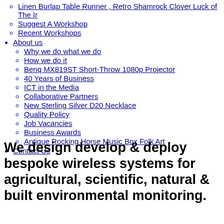Linen Burlap Table Runner , Retro Shamrock Clover Luck of The Ir
Suggest A Workshop
Recent Workshops
About us
Why we do what we do
How we do it
Benq MX819ST Short-Throw 1080p Projector
40 Years of Business
ICT in the Media
Collaborative Partners
New Sterling Silver D20 Necklace
Quality Policy
Job Vacancies
Business Awards
Antique Rocking Horse Music Box Folk Art
Contact Us
We design develop & deploy bespoke wireless systems for agricultural, scientific, natural & built environmental monitoring.